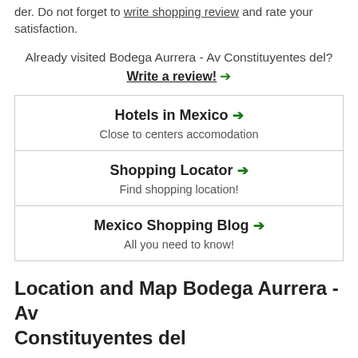der. Do not forget to write shopping review and rate your satisfaction.
Already visited Bodega Aurrera - Av Constituyentes del? Write a review! →
Hotels in Mexico → Close to centers accomodation
Shopping Locator → Find shopping location!
Mexico Shopping Blog → All you need to know!
Location and Map Bodega Aurrera - Av Constituyentes del